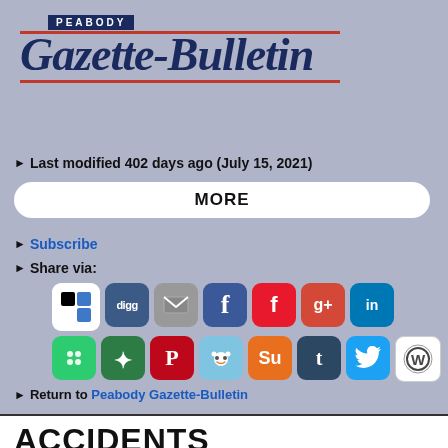[Figure (logo): Peabody Gazette-Bulletin newspaper logo with dark blue serif text on white background with red horizontal lines]
▶ Last modified 402 days ago (July 15, 2021)
MORE
▶ Subscribe
▶ Share via:
[Figure (infographic): Row of social media sharing icon buttons: ShareThis, Digg, Email, Facebook, Flipboard, Google+, LinkedIn, MSN, Newsvine, Pinterest, Reddit, StumbleUpon, Tumblr, Twitter, WordPress]
▶ Return to Peabody Gazette-Bulletin
ACCIDENTS